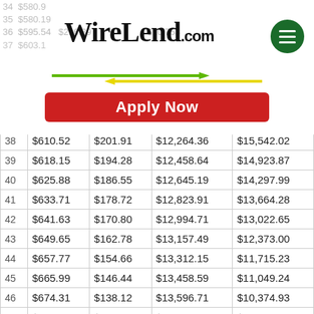[Figure (logo): WireLend.com logo with green hamburger menu button, double arrow graphic (green right-pointing and yellow left-pointing arrows), and red Apply Now button]
| # | Principal | Interest | Cumulative Principal | Balance |
| --- | --- | --- | --- | --- |
| 38 | $610.52 | $201.91 | $12,264.36 | $15,542.02 |
| 39 | $618.15 | $194.28 | $12,458.64 | $14,923.87 |
| 40 | $625.88 | $186.55 | $12,645.19 | $14,297.99 |
| 41 | $633.71 | $178.72 | $12,823.91 | $13,664.28 |
| 42 | $641.63 | $170.80 | $12,994.71 | $13,022.65 |
| 43 | $649.65 | $162.78 | $13,157.49 | $12,373.00 |
| 44 | $657.77 | $154.66 | $13,312.15 | $11,715.23 |
| 45 | $665.99 | $146.44 | $13,458.59 | $11,049.24 |
| 46 | $674.31 | $138.12 | $13,596.71 | $10,374.93 |
| 47 | $682.74 | $129.68 | $13,726.69 | $9,692.19 |